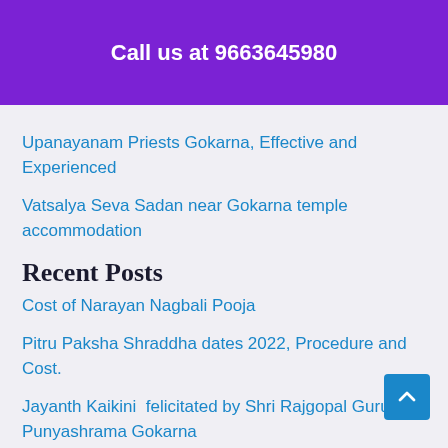Call us at 9663645980
Upanayanam Priests Gokarna, Effective and Experienced
Vatsalya Seva Sadan near Gokarna temple accommodation
Recent Posts
Cost of Narayan Nagbali Pooja
Pitru Paksha Shraddha dates 2022, Procedure and Cost.
Jayanth Kaikini  felicitated by Shri Rajgopal Guruji of Punyashrama Gokarna